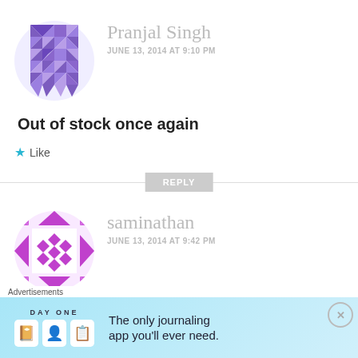[Figure (illustration): Purple geometric/mosaic avatar icon for user Pranjal Singh]
Pranjal Singh
JUNE 13, 2014 AT 9:10 PM
Out of stock once again
Like
REPLY
[Figure (illustration): Purple/magenta circular mosaic avatar icon for user saminathan]
saminathan
JUNE 13, 2014 AT 9:42 PM
when next stock for moto e
Advertisements
[Figure (illustration): Day One journaling app advertisement banner with light blue background, app icons, and tagline: The only journaling app you'll ever need.]